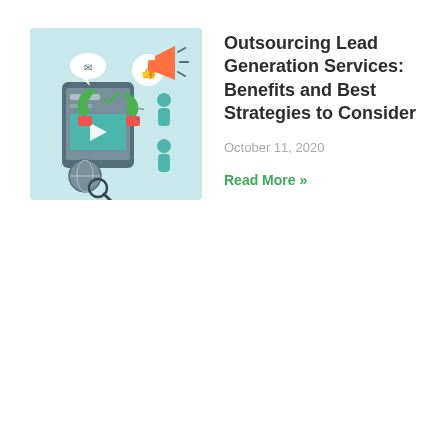[Figure (illustration): Blog post thumbnail showing a lead generation marketing illustration with a magnet, smartphone, social media icons (thumbs up, chat bubbles), a globe with magnifying glass, human figures, and a megaphone on a light teal/mint background]
Outsourcing Lead Generation Services: Benefits and Best Strategies to Consider
October 11, 2020
Read More »